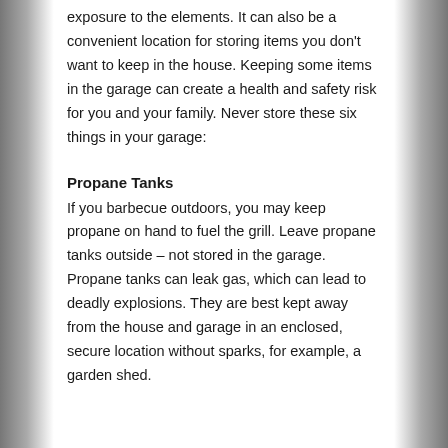exposure to the elements. It can also be a convenient location for storing items you don't want to keep in the house. Keeping some items in the garage can create a health and safety risk for you and your family. Never store these six things in your garage:
Propane Tanks
If you barbecue outdoors, you may keep propane on hand to fuel the grill. Leave propane tanks outside – not stored in the garage. Propane tanks can leak gas, which can lead to deadly explosions. They are best kept away from the house and garage in an enclosed, secure location without sparks, for example, a garden shed.